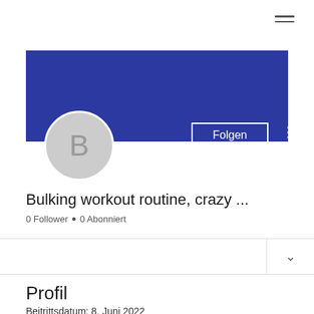[Figure (screenshot): Hamburger menu icon (three horizontal lines) at top right]
[Figure (screenshot): Blue banner header background for user profile]
[Figure (screenshot): Circular avatar with letter B on grey background, Folgen button, and three-dot menu]
Bulking workout routine, crazy ...
0 Follower • 0 Abonniert
[Figure (screenshot): Dropdown row with chevron icon]
Profil
Beitrittsdatum: 8. Juni 2022